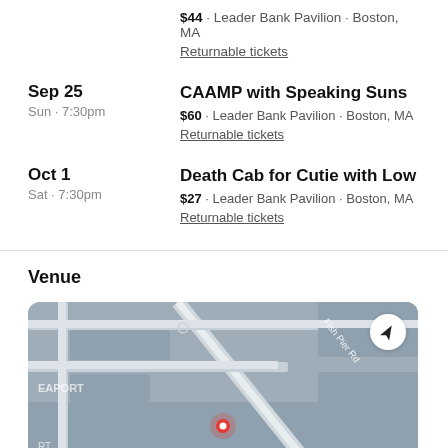$44 · Leader Bank Pavilion · Boston, MA
Returnable tickets
Sep 25 · Sun · 7:30pm · CAAMP with Speaking Suns · $60 · Leader Bank Pavilion · Boston, MA · Returnable tickets
Oct 1 · Sat · 7:30pm · Death Cab for Cutie with Low · $27 · Leader Bank Pavilion · Boston, MA · Returnable tickets
Venue
[Figure (map): Street map showing Leader Bank Pavilion area in Boston, MA Seaport district with Fish Pier Rd visible and a red location pin marker]